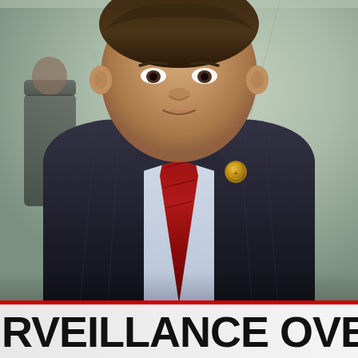[Figure (screenshot): Television news screenshot showing a man in a dark pinstripe suit with red tie and lapel pin, speaking in a corridor setting. Another person visible in the background hallway.]
RVEILLANCE OVERLOAD